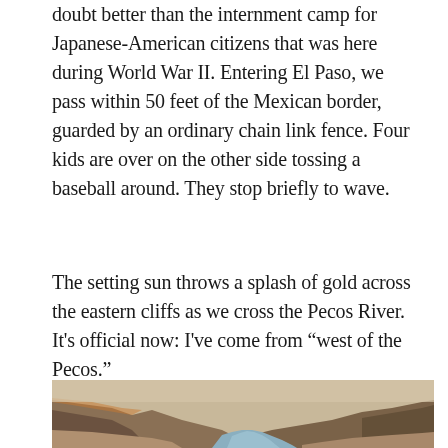doubt better than the internment camp for Japanese-American citizens that was here during World War II. Entering El Paso, we pass within 50 feet of the Mexican border, guarded by an ordinary chain link fence. Four kids are over on the other side tossing a baseball around. They stop briefly to wave.
The setting sun throws a splash of gold across the eastern cliffs as we cross the Pecos River. It's official now: I've come from “west of the Pecos.”
[Figure (photo): Aerial or elevated view of a river (the Pecos River) winding through rocky canyon cliffs with arid, scrubby terrain on both sides.]